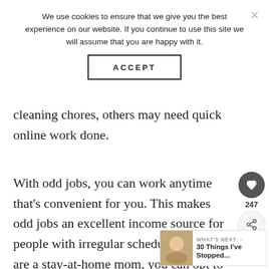We use cookies to ensure that we give you the best experience on our website. If you continue to use this site we will assume that you are happy with it.
ACCEPT
cleaning chores, others may need quick online work done.
With odd jobs, you can work anytime that's convenient for you. This makes odd jobs an excellent income source for people with irregular schedules. If you are a stay-at-home mom, you can opt to take online odd jobs when the kids are at school or are asleep.
[Figure (other): Social sharing widget with heart/like button showing count 247 and a share button]
[Figure (other): WHAT'S NEXT callout showing '30 Things I've Stopped...' with thumbnail image]